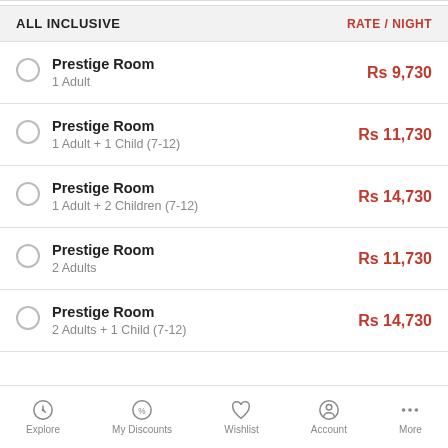ALL INCLUSIVE | RATE / NIGHT
Prestige Room | 1 Adult | Rs 9,730
Prestige Room | 1 Adult + 1 Child (7-12) | Rs 11,730
Prestige Room | 1 Adult + 2 Children (7-12) | Rs 14,730
Prestige Room | 2 Adults | Rs 11,730
Prestige Room | 2 Adults + 1 Child (7-12) | Rs 14,730
Explore | My Discounts | Wishlist | Account | More